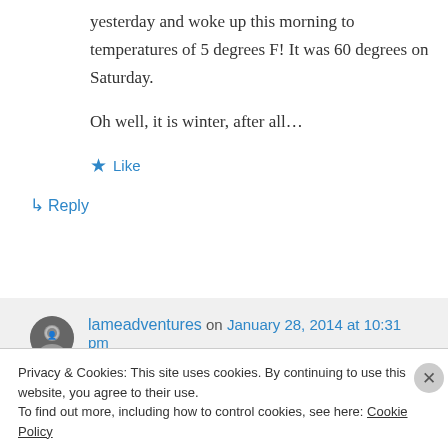yesterday and woke up this morning to temperatures of 5 degrees F! It was 60 degrees on Saturday.
Oh well, it is winter, after all…
★ Like
↳ Reply
lameadventures on January 28, 2014 at 10:31 pm
Privacy & Cookies: This site uses cookies. By continuing to use this website, you agree to their use.
To find out more, including how to control cookies, see here: Cookie Policy
Close and accept